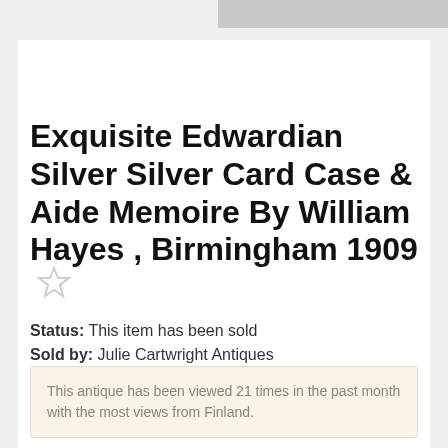SOLD | ITEM # SA886305
Exquisite Edwardian Silver Silver Card Case & Aide Memoire By William Hayes , Birmingham 1909
Status: This item has been sold
Sold by: Julie Cartwright Antiques
This antique has been viewed 21 times in the past month with the most views from Finland.